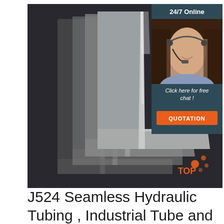[Figure (photo): Photo of stacked steel angle bars/structural steel L-sections in metallic silver-gray, arranged in a fan-like overlapping stack, on a dark background. In the upper right corner there is a customer service panel showing '24/7 Online', a photo of a smiling woman with a headset, text 'Click here for free chat!', and an orange 'QUOTATION' button. A 'TOP' badge with orange dots appears at the bottom right of the image.]
J524 Seamless Hydraulic Tubing , Industrial Tube and